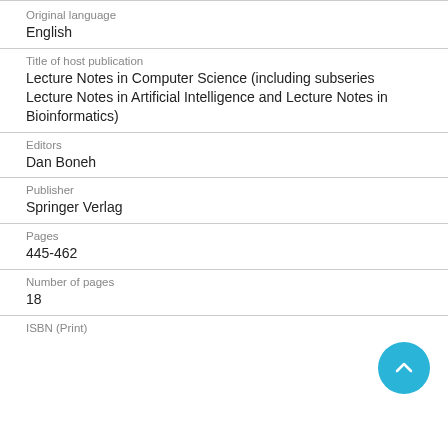Original language
English
Title of host publication
Lecture Notes in Computer Science (including subseries Lecture Notes in Artificial Intelligence and Lecture Notes in Bioinformatics)
Editors
Dan Boneh
Publisher
Springer Verlag
Pages
445-462
Number of pages
18
ISBN (Print)